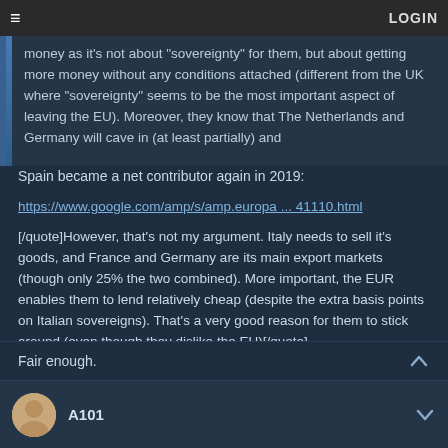≡  LOGIN
money as it's not about "sovereignty" for them, but about getting more money without any conditions attached (different from the UK where "sovereignty" seems to be the most important aspect of leaving the EU). Moreover, they know that The Netherlands and Germany will cave in (at least partially) and
Spain became a net contributor again in 2019:
https://www.google.com/amp/s/amp.europa ... 41110.html
[/quote]However, that's not my argument. Italy needs to sell it's goods, and France and Germany are its main export markets (though only 25% the two combined). More important, the EUR enables them to lend relatively cheap (despite the extra basis points on Italian sovereigns). That's a very good reason for them to stick around (even though they dislike the EU)[/quote]
Fair enough.
A101